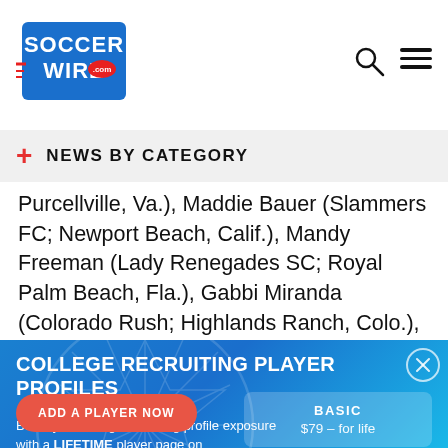SoccerWire.com header with logo, search icon, and menu icon
NEWS BY CATEGORY
Purcellville, Va.), Maddie Bauer (Slammers FC; Newport Beach, Calif.), Mandy Freeman (Lady Renegades SC; Royal Palm Beach, Fla.), Gabbi Miranda (Colorado Rush; Highlands Ranch, Colo.), Lizzy Raben (Colorado Rush; Greenwood Village, Colo.), Morgan R...(Chelsea Ladies;
[Figure (infographic): College Recruiting Player Profiles advertisement overlay with blue gradient background, soccer ball watermark, pricing tiers (Basic $79 for life, Featured $229 for life, Featured Plus $349 for life), and Add a Player Now button]
COLLEGE RECRUITING PLAYER PROFILES
Boost your college recruiting profile exposure with a LIFETIME player page on SoccerWire.com, the site colleges coaches rely on.
BASIC — $79 – for life
FEATURED — $229 – for life
FEATURED PLUS — $349 – for life